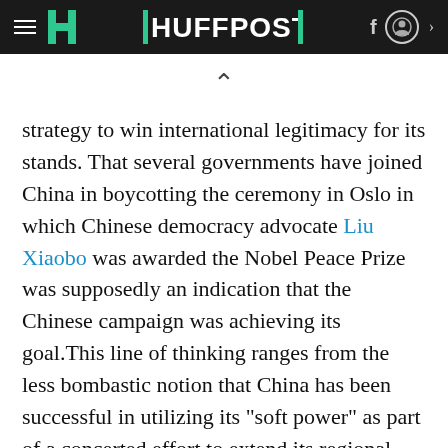HuffPost navigation bar
strategy to win international legitimacy for its stands. That several governments have joined China in boycotting the ceremony in Oslo in which Chinese democracy advocate Liu Xiaobo was awarded the Nobel Peace Prize was supposedly an indication that the Chinese campaign was achieving its goal.This line of thinking ranges from the less bombastic notion that China has been successful in utilizing its "soft power" as part of a concerted effort to extend its regional and global influence, to the more fear-inducing view that American interests and values are under assault by an aggressive